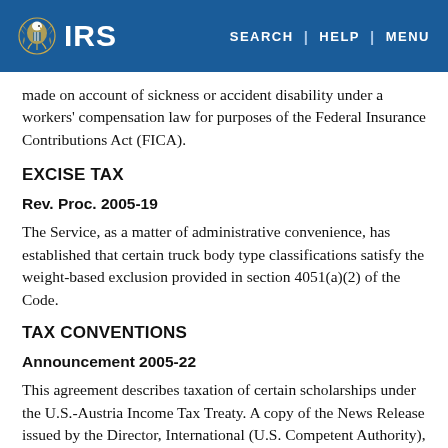IRS | SEARCH | HELP | MENU
made on account of sickness or accident disability under a workers' compensation law for purposes of the Federal Insurance Contributions Act (FICA).
EXCISE TAX
Rev. Proc. 2005-19
The Service, as a matter of administrative convenience, has established that certain truck body type classifications satisfy the weight-based exclusion provided in section 4051(a)(2) of the Code.
TAX CONVENTIONS
Announcement 2005-22
This agreement describes taxation of certain scholarships under the U.S.-Austria Income Tax Treaty. A copy of the News Release issued by the Director, International (U.S. Competent Authority), on March 1, 2005 (IR-2005-20), is